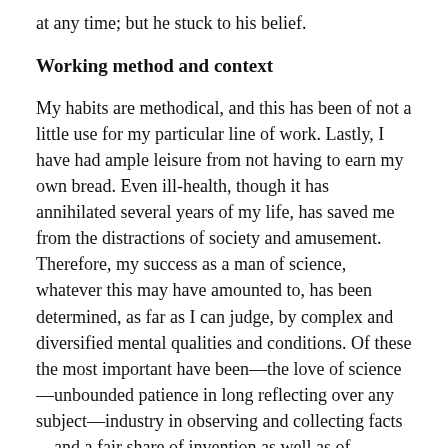at any time; but he stuck to his belief.
Working method and context
My habits are methodical, and this has been of not a little use for my particular line of work. Lastly, I have had ample leisure from not having to earn my own bread. Even ill-health, though it has annihilated several years of my life, has saved me from the distractions of society and amusement. Therefore, my success as a man of science, whatever this may have amounted to, has been determined, as far as I can judge, by complex and diversified mental qualities and conditions. Of these the most important have been—the love of science—unbounded patience in long reflecting over any subject—industry in observing and collecting facts—and a fair share of invention as well as of common-sense. With such moderate